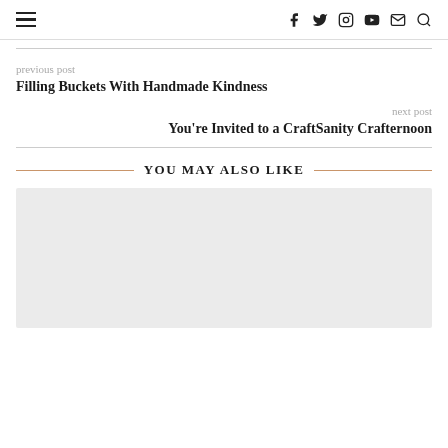≡  f  y  [instagram]  [youtube]  [mail]  [search]
previous post
Filling Buckets With Handmade Kindness
next post
You're Invited to a CraftSanity Crafternoon
YOU MAY ALSO LIKE
[Figure (photo): Gray placeholder image block]